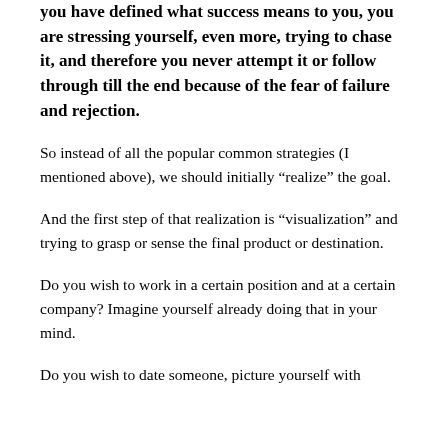you have defined what success means to you, you are stressing yourself, even more, trying to chase it, and therefore you never attempt it or follow through till the end because of the fear of failure and rejection.
So instead of all the popular common strategies (I mentioned above), we should initially “realize” the goal.
And the first step of that realization is “visualization” and trying to grasp or sense the final product or destination.
Do you wish to work in a certain position and at a certain company? Imagine yourself already doing that in your mind.
Do you wish to date someone, picture yourself with